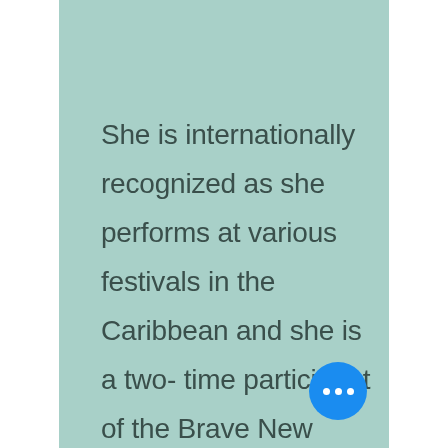She is internationally recognized as she performs at various festivals in the Caribbean and she is a two- time participant of the Brave New Voices International Poetry Festival.